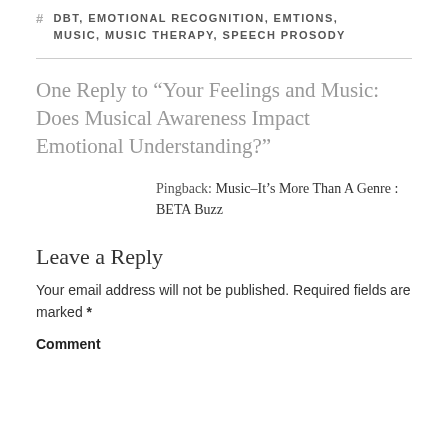# DBT, EMOTIONAL RECOGNITION, EMTIONS, MUSIC, MUSIC THERAPY, SPEECH PROSODY
One Reply to “Your Feelings and Music: Does Musical Awareness Impact Emotional Understanding?”
Pingback: Music–It’s More Than A Genre : BETA Buzz
Leave a Reply
Your email address will not be published. Required fields are marked *
Comment